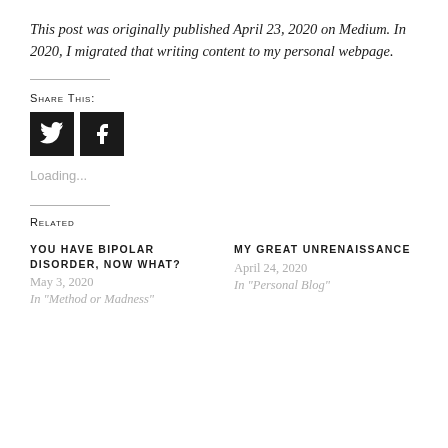This post was originally published April 23, 2020 on Medium. In 2020, I migrated that writing content to my personal webpage.
Share this:
[Figure (other): Twitter and Facebook social share buttons (black square icons)]
Loading...
Related
YOU HAVE BIPOLAR DISORDER, NOW WHAT?
May 3, 2020
In "Method or Madness"
MY GREAT UNRENAISSANCE
April 24, 2020
In "Personal Blog"